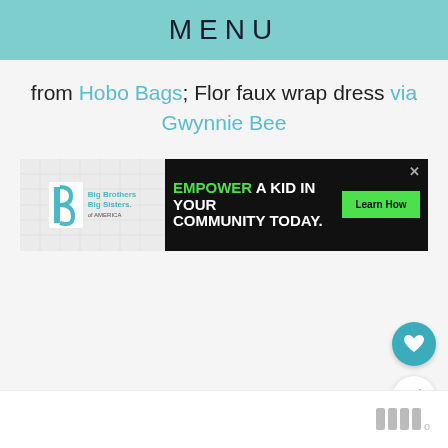MENU
from Hobo Bags; Flor faux wrap dress via Gwynnie Bee
[Figure (infographic): Advertisement banner with Big Brothers Big Sisters of America logo on the left and a black ad banner on the right reading 'EMPOWER A KID IN YOUR COMMUNITY TODAY.' with a green 'Learn How' button and a close X button.]
[Figure (infographic): Floating action buttons: a teal heart/favorite button and a white share button with a plus icon.]
[Figure (logo): Bottom bar with a stylized wordmark logo resembling 'M' bars with a degree symbol superscript.]